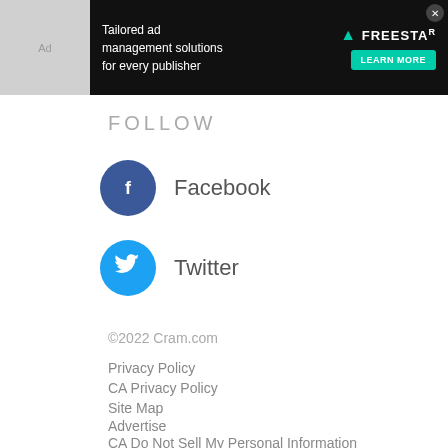[Figure (infographic): Dark advertisement banner for Freestar ad management with text 'Tailored ad management solutions for every publisher' and a LEARN MORE button]
FOLLOW
Facebook
Twitter
©2022 Cram.com
Privacy Policy
CA Privacy Policy
Site Map
Advertise
CA Do Not Sell My Personal Information